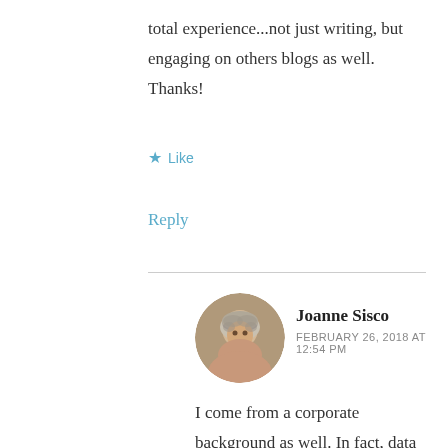total experience...not just writing, but engaging on others blogs as well. Thanks!
★ Like
Reply
Joanne Sisco
FEBRUARY 26, 2018 AT 12:54 PM
[Figure (photo): Avatar photo of Joanne Sisco, a middle-aged woman with curly gray hair, smiling.]
I come from a corporate background as well. In fact, data management was my career so I know all about numbers, and measuring success or failure.
In retirement I too struggled with the